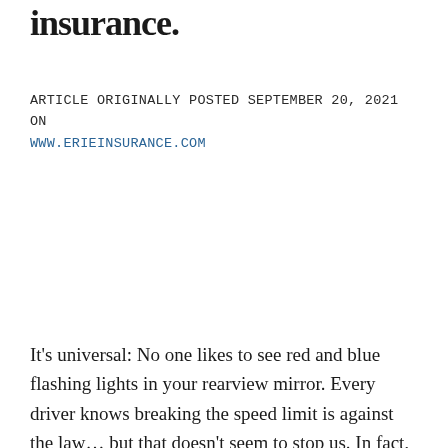insurance.
ARTICLE ORIGINALLY POSTED SEPTEMBER 20, 2021 ON WWW.ERIEINSURANCE.COM
It's universal: No one likes to see red and blue flashing lights in your rearview mirror. Every driver knows breaking the speed limit is against the law… but that doesn't seem to stop us. In fact,